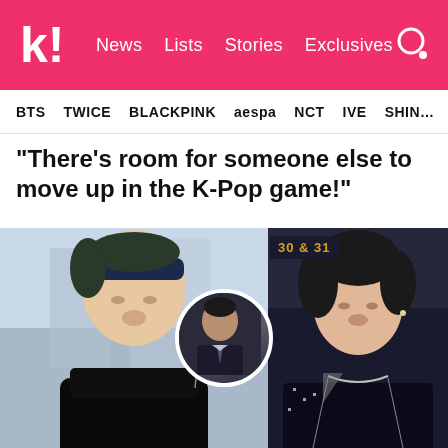k! News Lists Stories Exclusives
BTS  TWICE  BLACKPINK  aespa  NCT  IVE  SHINE
“There’s room for someone else to move up in the K-Pop game!”
[Figure (photo): Composite photo of RM from BTS on the left wearing a navy headband, a K-pop idol on the right in a dark sequined jacket, and a circular inset in the center showing a person in a suit. A '30 & 31' sign is visible in the background on the right side.]